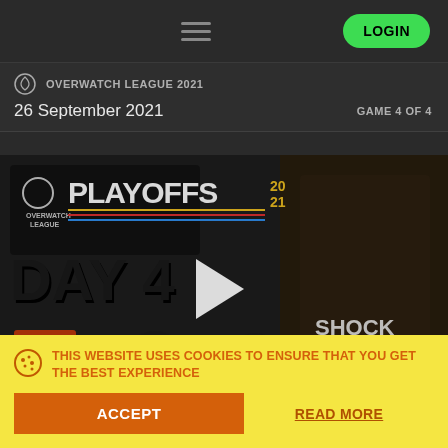LOGIN
OVERWATCH LEAGUE 2021
26 September 2021    GAME 4 OF 4
[Figure (screenshot): Overwatch League 2021 Playoffs Day 4 video thumbnail with team logos (SF Shock, Atlanta Reign, etc.) and a player in a Shock jersey. A play button is centered on the image.]
THIS WEBSITE USES COOKIES TO ENSURE THAT YOU GET THE BEST EXPERIENCE
ACCEPT
READ MORE